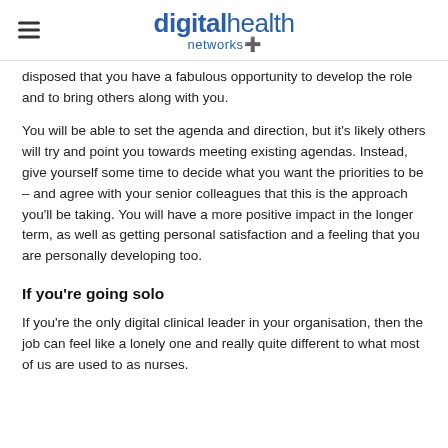digitalhealth networks+
disposed that you have a fabulous opportunity to develop the role and to bring others along with you.
You will be able to set the agenda and direction, but it's likely others will try and point you towards meeting existing agendas. Instead, give yourself some time to decide what you want the priorities to be – and agree with your senior colleagues that this is the approach you'll be taking. You will have a more positive impact in the longer term, as well as getting personal satisfaction and a feeling that you are personally developing too.
If you're going solo
If you're the only digital clinical leader in your organisation, then the job can feel like a lonely one and really quite different to what most of us are used to as nurses.